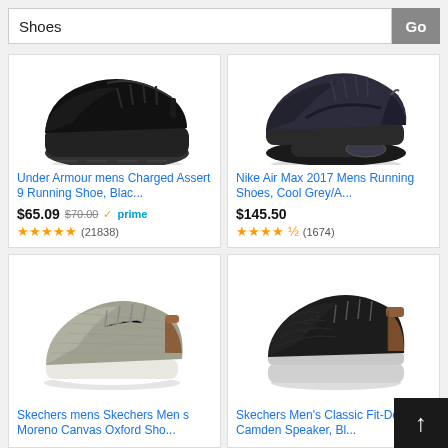Shoes
[Figure (screenshot): Amazon search results page for 'Shoes' showing four product cards: Under Armour mens Charged Assert 9 Running Shoe (black), Nike Air Max 2017 Mens Running Shoes (cool grey), Skechers mens Moreno Canvas Oxford, and Skechers Men's Classic Fit Delson-Camden Sneaker.]
Under Armour mens Charged Assert 9 Running Shoe, Blac...
$65.09 $70.00 prime (21838)
Nike Air Max 2017 Mens Running Shoes, Cool Grey/A...
$145.50 (1674)
Skechers mens Skechers Men s Moreno Canvas Oxford Sho...
Skechers Men's Classic Fit-Delson-Camden Speaker, Bl...